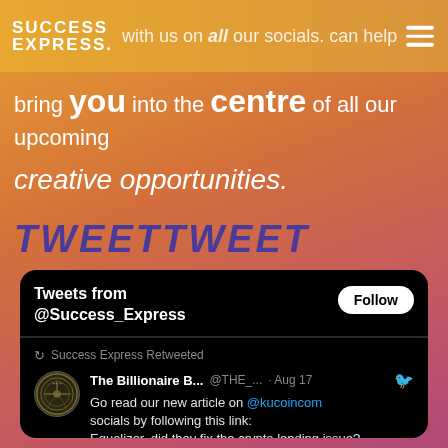SUCCESS EXPRESS · with us on all our socials. can help
bring you into the centre of all our upcoming creative opportunities.
TWEETTWEET
[Figure (screenshot): Embedded Twitter widget showing 'Tweets from @Success_Express' with a Follow button, and a retweet from The Billionaire B... @THE_... · Aug 17 reading: 'Go read our new article on @kucoincom socials by following this link: Equalizer, did they fix the crypto lending issue? kucoin.com/kucoins/bbs/po']